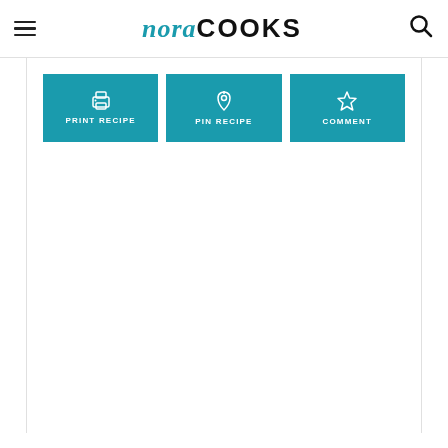nora COOKS
[Figure (screenshot): Three teal action buttons: PRINT RECIPE (printer icon), PIN RECIPE (pin icon), COMMENT (star icon)]